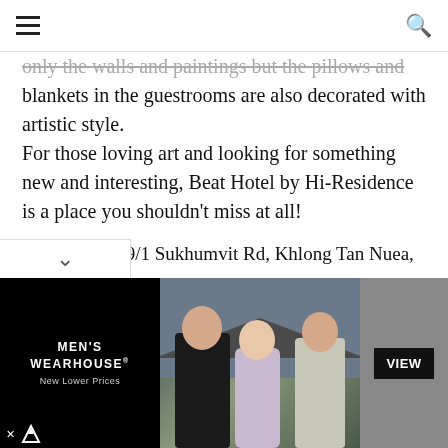☰  🔍
only the walls and paintings but the pillows and blankets in the guestrooms are also decorated with artistic style.
For those loving art and looking for something new and interesting, Beat Hotel by Hi-Residence is a place you shouldn't miss at all!
Location: 69/1 Sukhumvit Rd, Khlong Tan Nuea, Whattana
Price: Starts at 1500 baht
[Figure (photo): Advertisement banner for Men's Wearhouse featuring a couple in formal wear and a man in a grey suit, with 'VIEW' button]